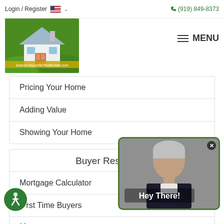Login / Register  (919) 849-8373
[Figure (logo): SearchClaytonNCRealEstate.com logo with house on green background]
MENU
Pricing Your Home
Adding Value
Showing Your Home
Buyer Resources
Mortgage Calculator
First Time Buyers
[Figure (photo): Video popup showing a man with Hey There! text overlay and green border, with X close button]
[Figure (illustration): Accessibility icon - green circle with wheelchair user symbol]